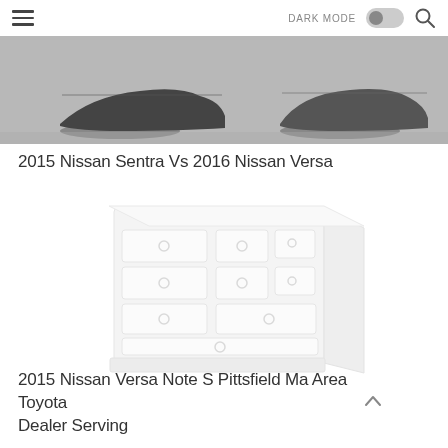DARK MODE [toggle] [search]
[Figure (photo): Grayscale photo of two cars side by side on a surface, cropped at top portion]
2015 Nissan Sentra Vs 2016 Nissan Versa
[Figure (photo): Faded/blurred image of a white dresser with multiple drawers and circular handles]
2015 Nissan Versa Note S Pittsfield Ma Area Toyota Dealer Serving